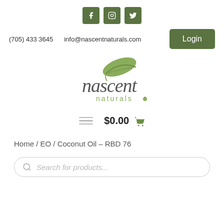[Figure (logo): Social media icons: Facebook, Instagram, Twitter on green rounded square backgrounds]
(705) 433 3645   info@nascentnaturals.com
[Figure (logo): Login button - green rounded rectangle with white text 'Login']
[Figure (logo): Nascent Naturals logo - stylized script text with green leaf and water drop]
$0.00
Home / EO / Coconut Oil – RBD 76
Search for products...